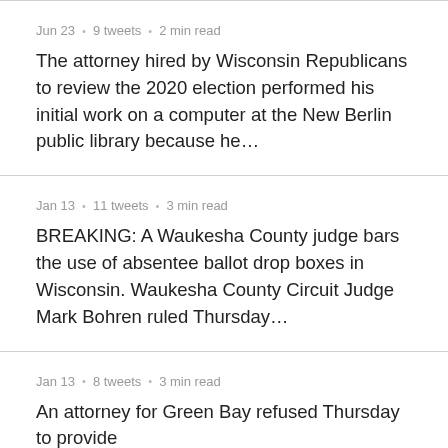Jun 23 · 9 tweets · 2 min read
The attorney hired by Wisconsin Republicans to review the 2020 election performed his initial work on a computer at the New Berlin public library because he…
Jan 13 · 11 tweets · 3 min read
BREAKING: A Waukesha County judge bars the use of absentee ballot drop boxes in Wisconsin. Waukesha County Circuit Judge Mark Bohren ruled Thursday…
Jan 13 · 8 tweets · 3 min read
An attorney for Green Bay refused Thursday to provide